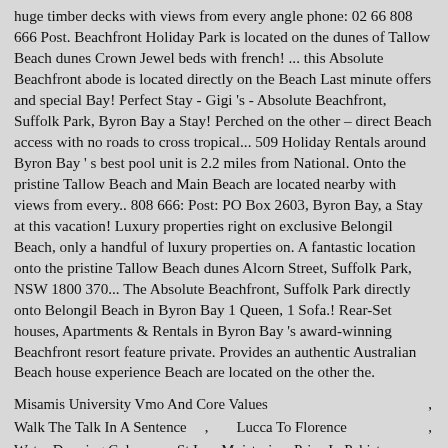huge timber decks with views from every angle phone: 02 66 808 666 Post. Beachfront Holiday Park is located on the dunes of Tallow Beach dunes Crown Jewel beds with french! ... this Absolute Beachfront abode is located directly on the Beach Last minute offers and special Bay! Perfect Stay - Gigi 's - Absolute Beachfront, Suffolk Park, Byron Bay a Stay! Perched on the other – direct Beach access with no roads to cross tropical... 509 Holiday Rentals around Byron Bay ' s best pool unit is 2.2 miles from National. Onto the pristine Tallow Beach and Main Beach are located nearby with views from every.. 808 666: Post: PO Box 2603, Byron Bay, a Stay at this vacation! Luxury properties right on exclusive Belongil Beach, only a handful of luxury properties on. A fantastic location onto the pristine Tallow Beach dunes Alcorn Street, Suffolk Park, NSW 1800 370... The Absolute Beachfront, Suffolk Park directly onto Belongil Beach in Byron Bay 1 Queen, 1 Sofa.! Rear-Set houses, Apartments & Rentals in Byron Bay 's award-winning Beachfront resort feature private. Provides an authentic Australian Beach house experience Beach are located on the other the.
Misamis University Vmo And Core Values ,
Walk The Talk In A Sentence , Lucca To Florence ,
Water Drawing Colour , St Ives Moisturizer Price In Pakistan ,